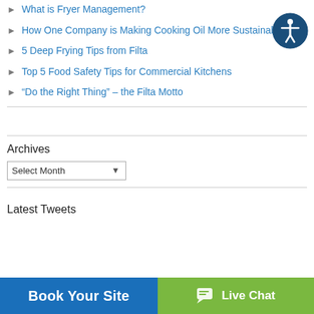What is Fryer Management?
How One Company is Making Cooking Oil More Sustainable
5 Deep Frying Tips from Filta
Top 5 Food Safety Tips for Commercial Kitchens
“Do the Right Thing” – the Filta Motto
Archives
Select Month
Latest Tweets
Book Your Site
Live Chat